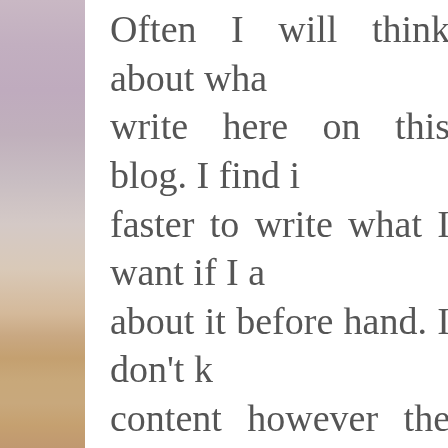[Figure (photo): A beach/coastal scene on the left side of the page showing sky, water, and sand with muted pinkish-purple and sandy tones]
Often I will think about what to write here on this blog. I find it faster to write what I want if I think about it before hand. I don't know the content however the subject and main points. I have a journal to write main points down to think about at a later time or what to write about later.
Whatever way that you want, it is important to think throughout the day the thoughts that come into your head that are positive, is what you should...